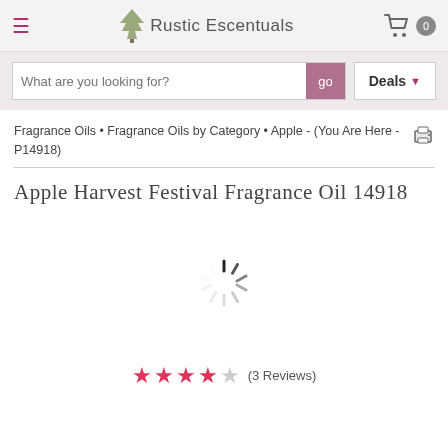Rustic Escentuals
What are you looking for?  go  Deals
Fragrance Oils • Fragrance Oils by Category • Apple - (You Are Here - P14918)
Apple Harvest Festival Fragrance Oil 14918
[Figure (other): Loading spinner (animated circular spinner graphic)]
★★★★☆ (3 Reviews)